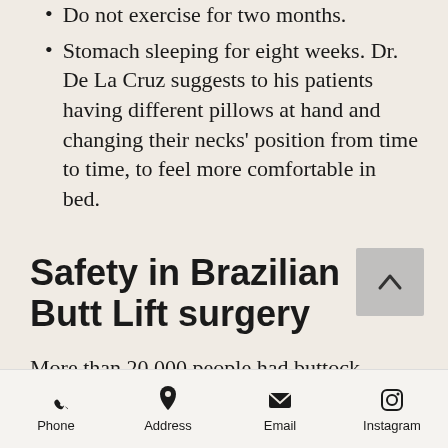Do not exercise for two months.
Stomach sleeping for eight weeks. Dr. De La Cruz suggests to his patients having different pillows at hand and changing their necks' position from time to time, to feel more comfortable in bed.
Safety in Brazilian Butt Lift surgery
More than 20,000 people had buttock augmentations in the United States last year and the number continues to grow according to the American Society